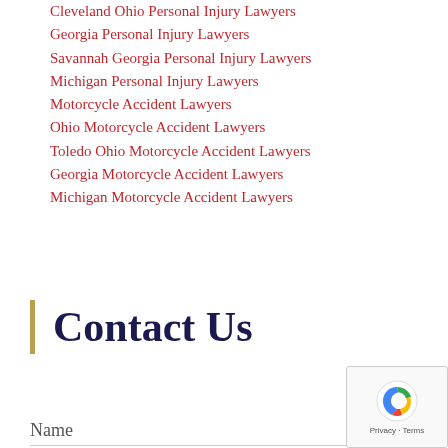Cleveland Ohio Personal Injury Lawyers
Georgia Personal Injury Lawyers
Savannah Georgia Personal Injury Lawyers
Michigan Personal Injury Lawyers
Motorcycle Accident Lawyers
Ohio Motorcycle Accident Lawyers
Toledo Ohio Motorcycle Accident Lawyers
Georgia Motorcycle Accident Lawyers
Michigan Motorcycle Accident Lawyers
Contact Us
Name